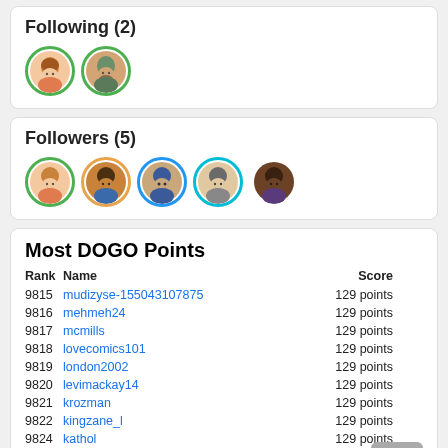Following (2)
[Figure (illustration): Two circular avatar icons with green borders representing users being followed]
Followers (5)
[Figure (illustration): Five circular avatar icons with various colored borders representing followers]
Most DOGO Points
| Rank | Name | Score |
| --- | --- | --- |
| 9815 | mudizyse-155043107875 | 129 points |
| 9816 | mehmeh24 | 129 points |
| 9817 | mcmills | 129 points |
| 9818 | lovecomics101 | 129 points |
| 9819 | london2002 | 129 points |
| 9820 | levimackay14 | 129 points |
| 9821 | krozman | 129 points |
| 9822 | kingzane_l | 129 points |
| 9824 | kathol | 129 points |